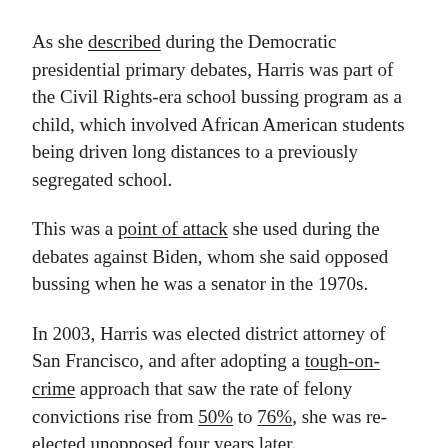As she described during the Democratic presidential primary debates, Harris was part of the Civil Rights-era school bussing program as a child, which involved African American students being driven long distances to a previously segregated school.
This was a point of attack she used during the debates against Biden, whom she said opposed bussing when he was a senator in the 1970s.
In 2003, Harris was elected district attorney of San Francisco, and after adopting a tough-on-crime approach that saw the rate of felony convictions rise from 50% to 76%, she was re-elected unopposed four years later.
In 2010, Harris won her first statewide election as attorney-general of California and after being re-elected in 2014, she won a landslide election to the US Senate in 2016.
Harris is married to attorney Douglas Emhoff and is step-